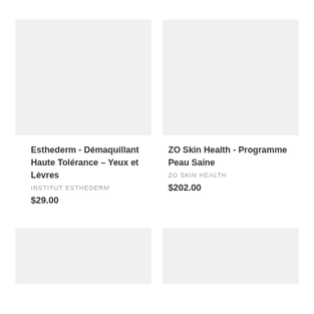[Figure (photo): Product image placeholder for Esthederm Démaquillant – light grey rectangle]
Esthederm - Démaquillant Haute Tolérance – Yeux et Lèvres
INSTITUT ESTHEDERM
$29.00
[Figure (photo): Product image placeholder for ZO Skin Health Programme Peau Saine – light grey rectangle]
ZO Skin Health - Programme Peau Saine
ZO SKIN HEALTH
$202.00
[Figure (photo): Product image placeholder bottom left – light grey rectangle]
[Figure (photo): Product image placeholder bottom right – light grey rectangle]